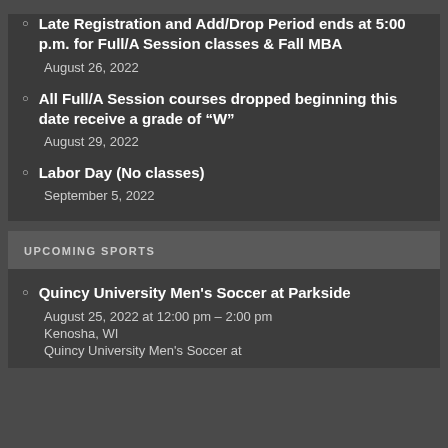Late Registration and Add/Drop Period ends at 5:00 p.m. for Full/A Session classes & Fall MBA
August 26, 2022
All Full/A Session courses dropped beginning this date receive a grade of “W”
August 29, 2022
Labor Day (No classes)
September 5, 2022
UPCOMING SPORTS
Quincy University Men's Soccer at Parkside
August 25, 2022 at 12:00 pm – 2:00 pm
Kenosha, WI
Quincy University Men's Soccer at